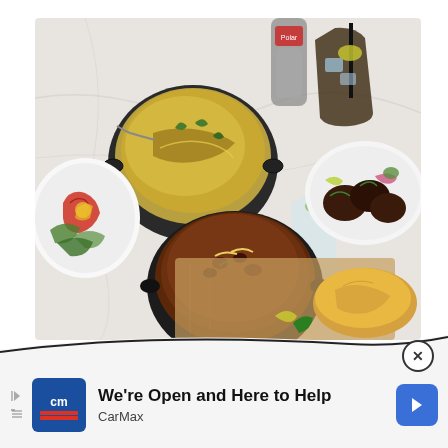[Figure (photo): Overhead shot of Indian restaurant dishes on a marble table: a bowl of biryani rice, a dark curry in a black pot with bread on a wooden board, grilled meat skewers on a white plate, a salad with grilled peppers, soda bottle, iced cola drink, and a glass of water with lime.]
[Figure (photo): Bottom portion of the restaurant food photo visible above the advertisement bar.]
We're Open and Here to Help
CarMax